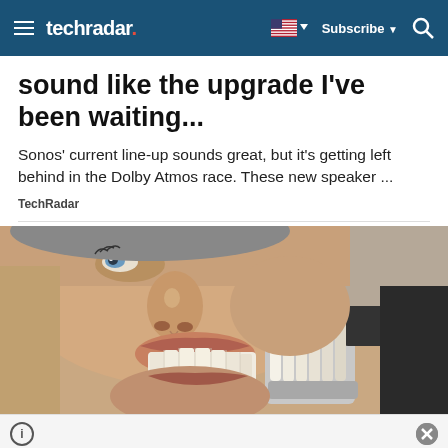techradar
sound like the upgrade I've been waiting...
Sonos' current line-up sounds great, but it's getting left behind in the Dolby Atmos race. These new speaker ...
TechRadar
[Figure (photo): Close-up photo of a man lying back with his mouth open, smiling, while a dental professional holds a tooth shade guide against his teeth to match the color.]